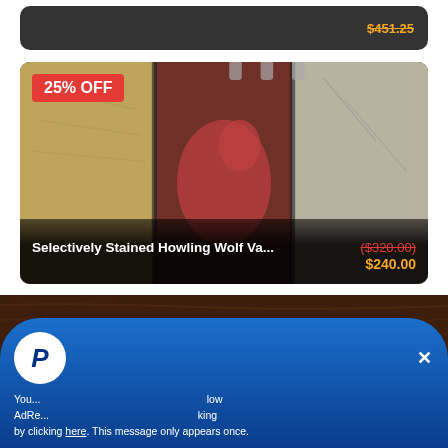[Figure (screenshot): Partial previous product card showing strikethrough price $451.25 in orange text on dark background]
[Figure (screenshot): Product card for Selectively Stained Howling Wolf Va... showing three carved wooden panels with wolf artwork. Red 25% OFF badge in top left. Original price ($320.00) in red strikethrough, sale price $240.00 in orange.]
Selectively Stained Howling Wolf Va...
($320.00)
$240.00
Places you've seen our Epic Gaming Gear
[Figure (logo): Row of partner/featured-in logos: RPG BCO (cartoon character), dragon head logo, YOUTH ARTS (blue background), BULL + REVELRY text with diamond dice icon, dice block logo, phoenix bird logo]
You... AdRe... by clicking here. This message only appears once.